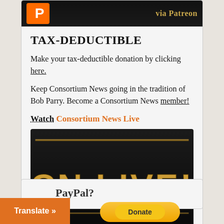[Figure (logo): Black banner with orange logo letters and 'via Patreon' in gold text on the right]
TAX-DEDUCTIBLE
Make your tax-deductible donation by clicking here.
Keep Consortium News going in the tradition of Bob Parry. Become a Consortium News member!
Watch Consortium News Live
[Figure (logo): CN LIVE! banner — black background with large gold metallic lettering reading 'CN LIVE!']
PayPal?
[Figure (other): Orange 'Translate »' button overlay in lower left, and a PayPal yellow donate button area]